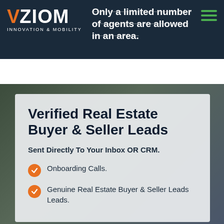Only a limited number of agents are allowed in an area.
Verified Real Estate Buyer & Seller Leads
Sent Directly To Your Inbox OR CRM.
Onboarding Calls.
Genuine Real Estate Buyer & Seller Leads Leads.